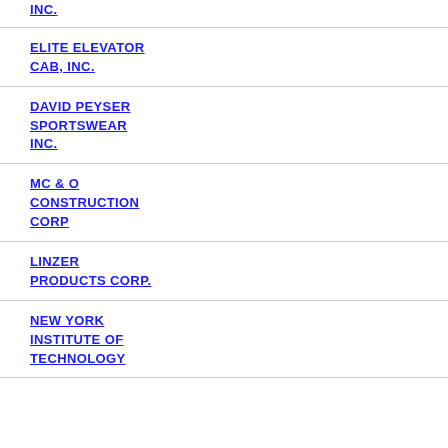INC.
ELITE ELEVATOR CAB, INC.
DAVID PEYSER SPORTSWEAR INC.
MC & O CONSTRUCTION CORP
LINZER PRODUCTS CORP.
NEW YORK INSTITUTE OF TECHNOLOGY